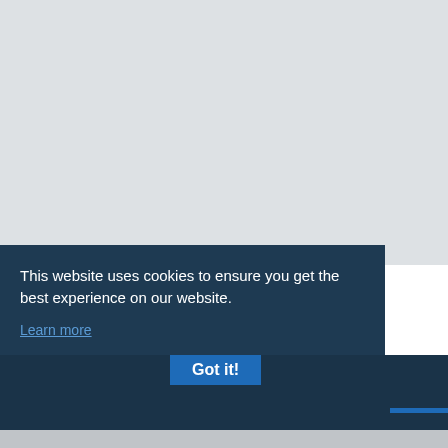This website uses cookies to ensure you get the best experience on our website.
Learn more
emigrate.co.uk   Home | Immigration News | Emigrate to Austra...   © 2012-2022Emigra...
Got it!